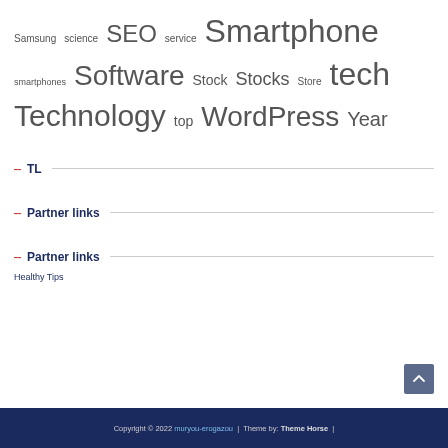Samsung science SEO service Smartphone smartphones Software Stock Stocks Store tech Technology top WordPress Year
TL
Partner links
Partner links
Healthy Tips
Copyright © 2022 muryou-erogazou | Theme by: Theme Horse |